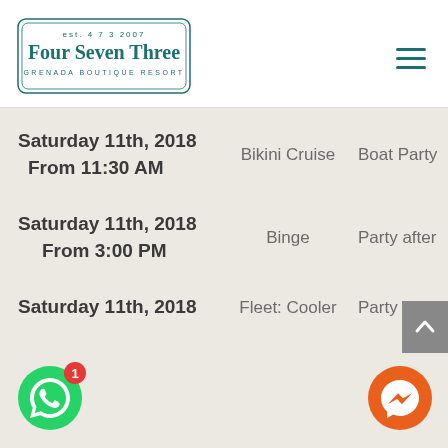[Figure (logo): Four Seven Three Grenada Boutique Resort logo inside a diamond/rectangular border with 'est. 473 2007' text]
Saturday 11th, 2018 From 11:30 AM | Bikini Cruise | Boat Party
Saturday 11th, 2018 From 3:00 PM | Binge | Party after
Saturday 11th, 2018 | Fleet: Cooler | Party after